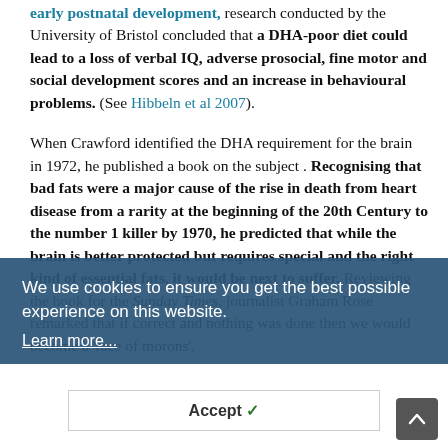early postnatal development, research conducted by the University of Bristol concluded that a DHA-poor diet could lead to a loss of verbal IQ, adverse prosocial, fine motor and social development scores and an increase in behavioural problems. (See Hibbeln et al 2007).
When Crawford identified the DHA requirement for the brain in 1972, he published a book on the subject . Recognising that bad fats were a major cause of the rise in death from heart disease from a rarity at the beginning of the 20th Century to the number 1 killer by 1970, he predicted that while the brain is better protected but requires special and the right kind of essential fats, it would be next to suffer. Reviewing the book for the Sunday Times, journalist Graham Rose remarked that if correct and nothing was done then we would become a 'race of morons'.